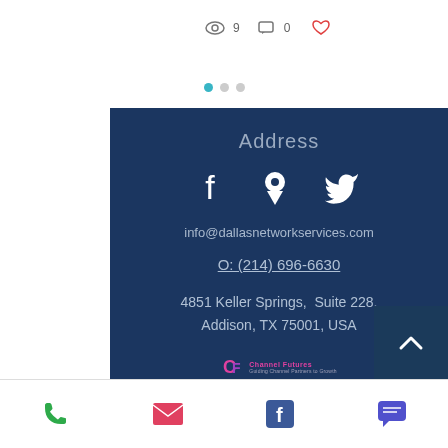[Figure (screenshot): Top portion of a website showing a card with eye icon showing 9 views, comment icon showing 0 comments, and a heart icon in red/orange. Three navigation dots below (first active in teal).]
Address
[Figure (infographic): Social media icons row: Facebook logo, map pin/location icon, Twitter bird icon — all white on dark blue background]
info@dallasnetworkservices.com
O: (214) 696-6630
4851 Keller Springs,  Suite 228,
Addison, TX 75001, USA
[Figure (logo): Channel Futures NextGen 101 logo with blue swirl graphic]
[Figure (infographic): Bottom navigation bar with phone icon (green), email icon (red/pink), Facebook icon (blue), chat/message icon (purple)]